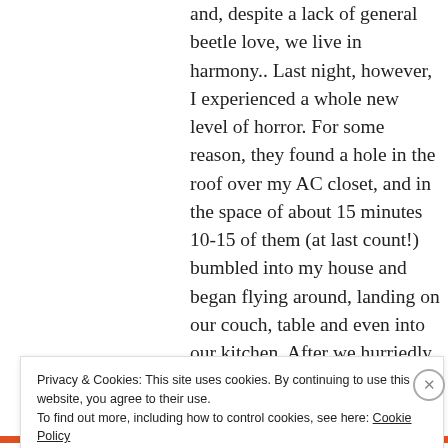and, despite a lack of general beetle love, we live in harmony.. Last night, however, I experienced a whole new level of horror. For some reason, they found a hole in the roof over my AC closet, and in the space of about 15 minutes 10-15 of them (at last count!) bumbled into my house and began flying around, landing on our couch, table and even into our kitchen. After we hurriedly closed the door to the closet, there was still an
Privacy & Cookies: This site uses cookies. By continuing to use this website, you agree to their use.
To find out more, including how to control cookies, see here: Cookie Policy
Close and accept